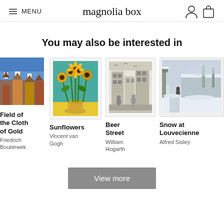≡ MENU | magnolia box | [user icon] [bag icon]
You may also be interested in
[Figure (illustration): Partial artwork card showing a colourful painting of a town scene. Title: Field of the Cloth of Gold. Artist: Friedrich Bouterwek.]
[Figure (illustration): Artwork card with white border showing Van Gogh's Sunflowers painting - yellow sunflowers in a vase on teal/yellow background. Title: Sunflowers. Artist: Vincent van Gogh.]
[Figure (illustration): Artwork card showing Beer Street, a black and white etching by William Hogarth. Title: Beer Street. Artist: William Hogarth.]
[Figure (photo): Partial artwork card showing a snowy winter scene with a figure on a path. Title: Snow at Louveciennes. Artist: Alfred Sisley.]
View more